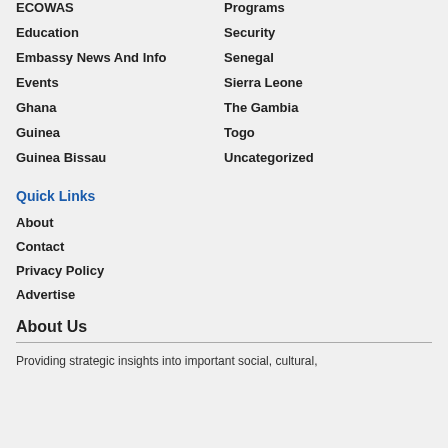ECOWAS
Programs
Education
Security
Embassy News And Info
Senegal
Events
Sierra Leone
Ghana
The Gambia
Guinea
Togo
Guinea Bissau
Uncategorized
Quick Links
About
Contact
Privacy Policy
Advertise
About Us
Providing strategic insights into important social, cultural,